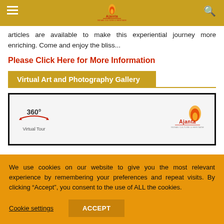Ajanta - Indian Culture & Heritage
articles are available to make this experiential journey more enriching. Come and enjoy the bliss...
Please Click Here for More Information
Virtual Art and Photography Gallery
[Figure (screenshot): 360° Virtual Tour image thumbnail with Ajanta logo on the right]
We use cookies on our website to give you the most relevant experience by remembering your preferences and repeat visits. By clicking “Accept”, you consent to the use of ALL the cookies.
Cookie settings   ACCEPT